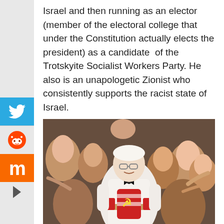Israel and then running as an elector (member of the electoral college that under the Constitution actually elects the president) as a candidate of the Trotskyite Socialist Workers Party. He also is an unapologetic Zionist who consistently supports the racist state of Israel.
[Figure (photo): A photo-edited image of a man in a white suit with a black bow tie, styled like KFC Colonel Sanders, holding a tray with a bucket marked with a hammer and sickle symbol, surrounded by a cheering crowd.]
Dr. Duke pointed out that racism against